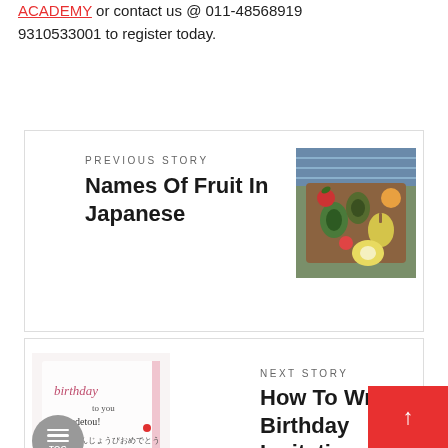ACADEMY or contact us @ 011-48568919 9310533001 to register today.
PREVIOUS STORY
Names Of Fruit In Japanese
[Figure (photo): A wooden tray with assorted fruits including pears, avocados, and other green and red fruits]
NEXT STORY
How To Write Birthday Invitations In Japanese
[Figure (photo): Birthday invitation card with handwritten cursive text 'birthday to you somedetou' and Japanese characters, with a decorative circle TOC button overlay]